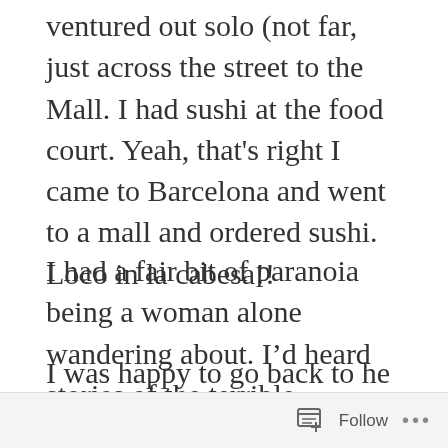ventured out solo (not far, just across the street to the Mall. I had sushi at the food court. Yeah, that's right I came to Barcelona and went to a mall and ordered sushi. Loco in la cabesa!!
I had a fair bit of paranoia being a woman alone wandering about. I'd heard stories of the terrible pickpockets here (which was the least of my worries) and kept my things close in front of me (on my lap). There were so many people at the mall and the tables were crowded close together. It doesn't make for a very pleasant dining experience.
I was happy to go back to he room of my hotel and
Follow ···